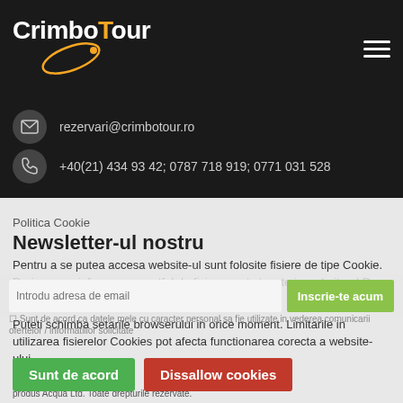[Figure (logo): CrimboTour logo with white text and golden orbit ellipse on dark background]
rezervari@crimbotour.ro
+40(21) 434 93 42; 0787 718 919; 0771 031 528
Politica Cookie
Newsletter-ul nostru
Pentru a se putea accesa website-ul sunt folosite fisiere de tipe Cookie. Dorim sa va informam ce astfel de fisiere sunt stocate in website-ul Dvs.
Puteti schimba setarile browserului in orice moment. Limitarile in utilizarea fisierelor Cookies pot afecta functionarea corecta a website-ului.
Sunt de acord
Dissallow cookies
produs Acqua Ltd. Toate drepturile rezervate.